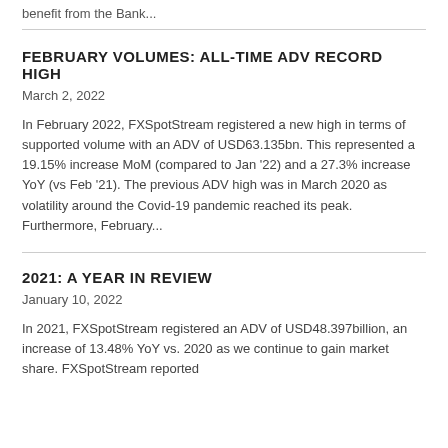benefit from the Bank...
FEBRUARY VOLUMES: ALL-TIME ADV RECORD HIGH
March 2, 2022
In February 2022, FXSpotStream registered a new high in terms of supported volume with an ADV of USD63.135bn. This represented a 19.15% increase MoM (compared to Jan '22) and a 27.3% increase YoY (vs Feb '21). The previous ADV high was in March 2020 as volatility around the Covid-19 pandemic reached its peak. Furthermore, February...
2021: A YEAR IN REVIEW
January 10, 2022
In 2021, FXSpotStream registered an ADV of USD48.397billion, an increase of 13.48% YoY vs. 2020 as we continue to gain market share. FXSpotStream reported